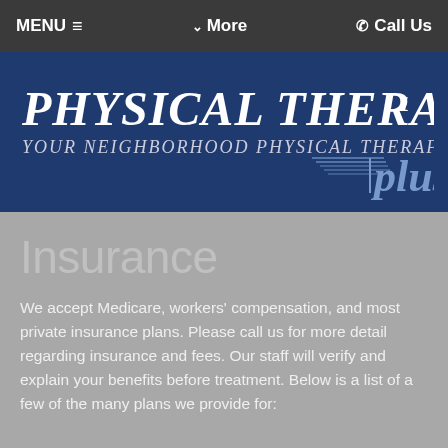MENU ≡   ∨ More   ☎ Call Us
[Figure (logo): Physical Therapy Plus logo — bold white italic text 'PHYSICAL THERAPY' with tagline 'Your Neighborhood Physical Therapists' and cursive 'plus' on dark navy background with horizontal line graphic element]
Insurance
We accept Medicare, workers' compensation, and most private insurance plans. Please call us for more detail regarding insurance and fees. Our staff will verify and explain your benefits before treatment. Below is a list of a few of the many plans we provide for: